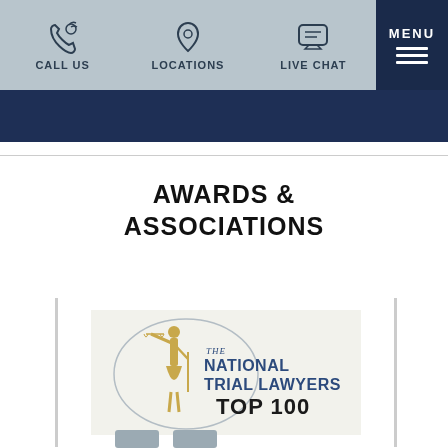CALL US | LOCATIONS | LIVE CHAT | MENU
AWARDS & ASSOCIATIONS
[Figure (logo): The National Trial Lawyers Top 100 logo — a golden figure of Lady Justice holding scales, with an oval outline and the text 'The National Trial Lawyers Top 100' in blue and black lettering.]